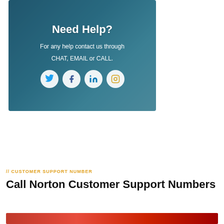[Figure (illustration): Banner with blue teal gradient overlay showing a person working at a laptop with social media icons (Twitter, Facebook, LinkedIn, Instagram) and text: Need Help? For any help contact us through CHAT, EMAIL or CALL.]
// CUSTOMER SUPPORT NUMBER
Call Norton Customer Support Numbers